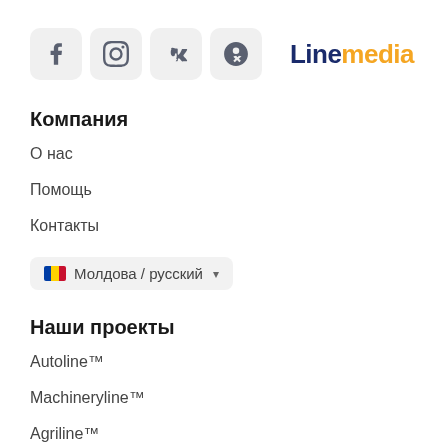[Figure (logo): Four social media icons (Facebook, Instagram, VKontakte, Odnoklassniki) in rounded square grey buttons]
[Figure (logo): Linemedia logo — 'Line' in dark navy bold, 'media' in orange bold]
Компания
О нас
Помощь
Контакты
Молдова / русский
Наши проекты
Autoline™
Machineryline™
Agriline™